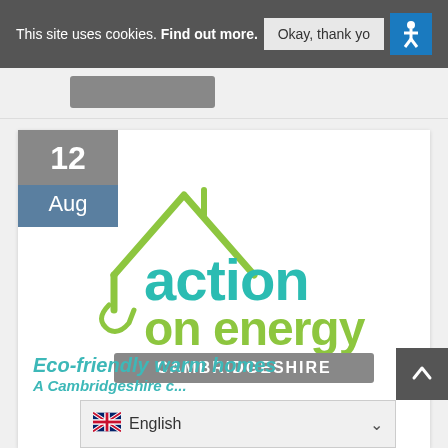This site uses cookies. Find out more.  Okay, thank yo
[Figure (logo): Action on Energy Cambridgeshire logo with house outline graphic in lime green and teal text]
12
Aug
Eco-friendly warm homes
A Cambridgeshire c...
English